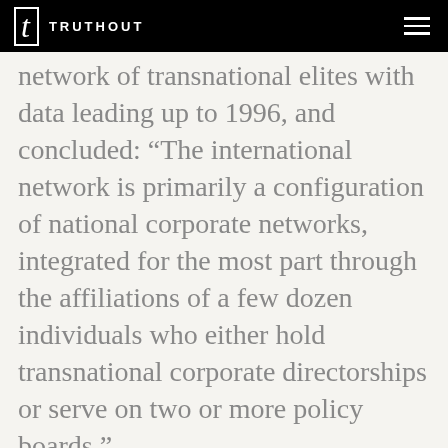TRUTHOUT
network of transnational elites with data leading up to 1996, and concluded: “The international network is primarily a configuration of national corporate networks, integrated for the most part through the affiliations of a few dozen individuals who either hold transnational corporate directorships or serve on two or more policy boards.”
Out of the sample of 622 individuals, they found roughly 105 individuals (94 “transnational